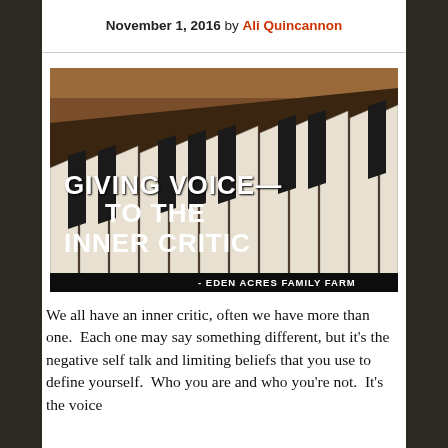November 1, 2016 by Ali Quincannon
[Figure (photo): Close-up photograph of piano keys with text overlay reading 'GIVING VOICE TO THE INNER CRITIC - EDEN ACRES FAMILY FARM']
We all have an inner critic, often we have more than one.  Each one may say something different, but it's the negative self talk and limiting beliefs that you use to define yourself.  Who you are and who you're not.  It's the voice